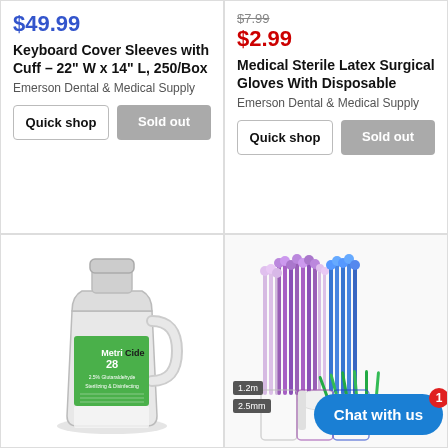$49.99
Keyboard Cover Sleeves with Cuff – 22" W x 14" L, 250/Box
Emerson Dental & Medical Supply
Quick shop
Sold out
$7.99 (strikethrough)
$2.99
Medical Sterile Latex Surgical Gloves With Disposable
Emerson Dental & Medical Supply
Quick shop
Sold out
[Figure (photo): MetriCide 28 disinfectant solution gallon jug with green label]
[Figure (photo): Colored microbrush applicators in purple, lavender and blue colors, with size tags 1.2mm and 2.5mm, and a chat widget overlay reading 'Chat with us' with badge showing 1]